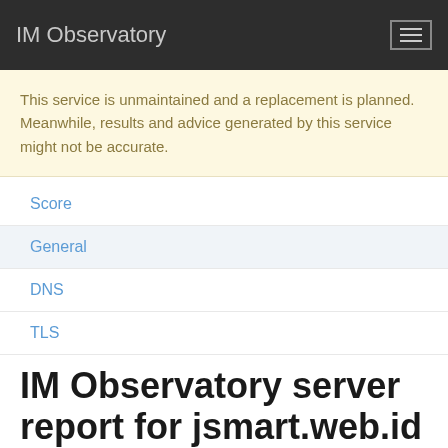IM Observatory
This service is unmaintained and a replacement is planned. Meanwhile, results and advice generated by this service might not be accurate.
Score
General
DNS
TLS
IM Observatory server report for jsmart.web.id
Test started 2019-01-07 22:42:53 UTC 4 years ago.